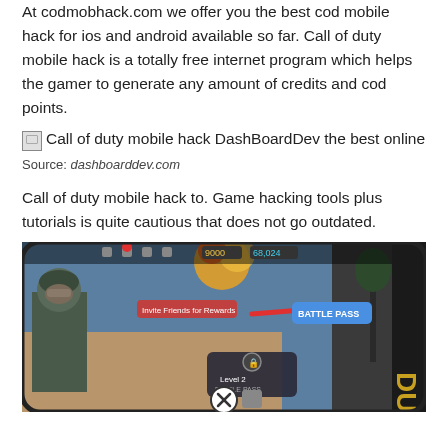At codmobhack.com we offer you the best cod mobile hack for ios and android available so far. Call of duty mobile hack is a totally free internet program which helps the gamer to generate any amount of credits and cod points.
[Figure (illustration): Broken image icon with alt text: Call of duty mobile hack DashBoardDev the best online]
Source: dashboarddev.com
Call of duty mobile hack to. Game hacking tools plus tutorials is quite cautious that does not go outdated.
[Figure (screenshot): Screenshot of a Call of Duty Mobile game interface shown on a smartphone, displaying a soldier character, game HUD with icons and currency numbers, a red arrow pointing to a Battle Pass button, and a Level 2 Battle Pass panel. The word DUTY is visible on the right edge.]